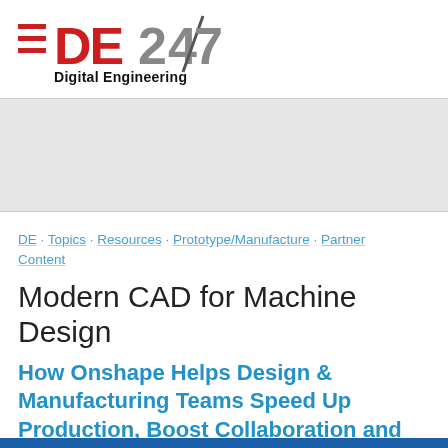[Figure (logo): DE247 Digital Engineering logo with red hamburger menu icon and stylized '247' numeral in red and gray]
[Figure (other): Gray advertisement banner placeholder]
DE · Topics · Resources · Prototype/Manufacture · Partner Content
Modern CAD for Machine Design
How Onshape Helps Design & Manufacturing Teams Speed Up Production, Boost Collaboration and Increase Innovation.